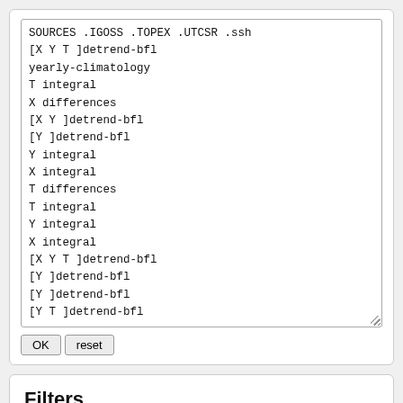SOURCES .IGOSS .TOPEX .UTCSR .ssh
 [X Y T ]detrend-bfl
 yearly-climatology
 T integral
 X differences
 [X Y ]detrend-bfl
 [Y ]detrend-bfl
 Y integral
 X integral
 T differences
 T integral
 Y integral
 X integral
 [X Y T ]detrend-bfl
 [Y ]detrend-bfl
 [Y ]detrend-bfl
 [Y T ]detrend-bfl
OK  reset
Filters